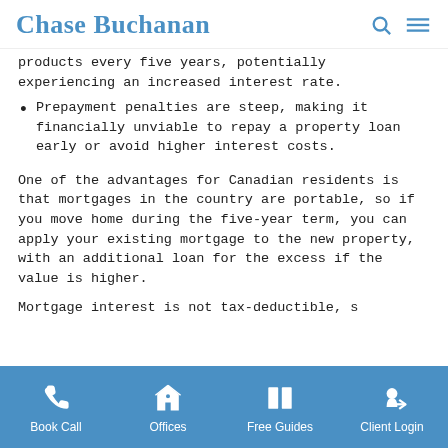Chase Buchanan
products every five years, potentially experiencing an increased interest rate.
Prepayment penalties are steep, making it financially unviable to repay a property loan early or avoid higher interest costs.
One of the advantages for Canadian residents is that mortgages in the country are portable, so if you move home during the five-year term, you can apply your existing mortgage to the new property, with an additional loan for the excess if the value is higher.
Mortgage interest is not tax-deductible, s
Book Call   Offices   Free Guides   Client Login